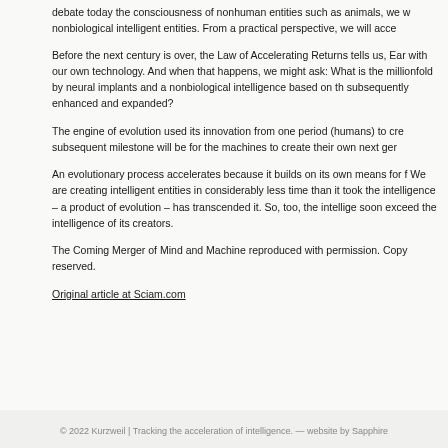debate today the consciousness of nonhuman entities such as animals, we w nonbiological intelligent entities. From a practical perspective, we will acce
Before the next century is over, the Law of Accelerating Returns tells us, Ear with our own technology. And when that happens, we might ask: What is the millionfold by neural implants and a nonbiological intelligence based on th subsequently enhanced and expanded?
The engine of evolution used its innovation from one period (humans) to cre subsequent milestone will be for the machines to create their own next ger
An evolutionary process accelerates because it builds on its own means for f We are creating intelligent entities in considerably less time than it took the intelligence – a product of evolution – has transcended it. So, too, the intellige soon exceed the intelligence of its creators.
The Coming Merger of Mind and Machine reproduced with permission. Copy reserved.
Original article at Sciam.com
© 2022 Kurzweil | Tracking the acceleration of intelligence. — website by Sapphire